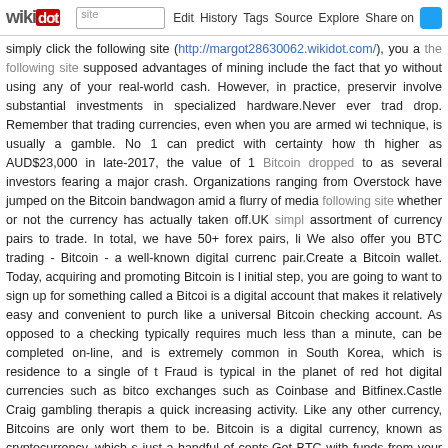wikidot | site | Edit | History | Tags | Source | Explore | Share on Twitter
simply click the following site (http://margot28630062.wikidot.com/), you a the following site supposed advantages of mining include the fact that yo without using any of your real-world cash. However, in practice, preservir involve substantial investments in specialized hardware.Never ever trad drop. Remember that trading currencies, even when you are armed wi technique, is usually a gamble. No 1 can predict with certainty how th higher as AUD$23,000 in late-2017, the value of 1 Bitcoin dropped to as several investors fearing a major crash. Organizations ranging from Overstock have jumped on the Bitcoin bandwagon amid a flurry of media following site whether or not the currency has actually taken off.UK simpl assortment of currency pairs to trade. In total, we have 50+ forex pairs, li We also offer you BTC trading - Bitcoin - a well-known digital currenc pair.Create a Bitcoin wallet. Today, acquiring and promoting Bitcoin is l initial step, you are going to want to sign up for something called a Bitcoi is a digital account that makes it relatively easy and convenient to purch like a universal Bitcoin checking account. As opposed to a checking typically requires much less than a minute, can be completed on-line, and is extremely common in South Korea, which is residence to a single of t Fraud is typical in the planet of red hot digital currencies such as bitco exchanges such as Coinbase and Bitfinex.Castle Craig gambling therapis a quick increasing activity. Like any other currency, Bitcoins are only wort them to be. Bitcoin is a digital currency, known as cryptocurrency, which s just a handful of cents.Get BTC with funds from your bank account. Afte been verified by the Bitcoin service, it need to be relatively straightforwar wallet. Usually, on your wallet page, there should be an alternative la clicking this should take you through a simple transaction procedure th acquire BTC. - Comments: 0